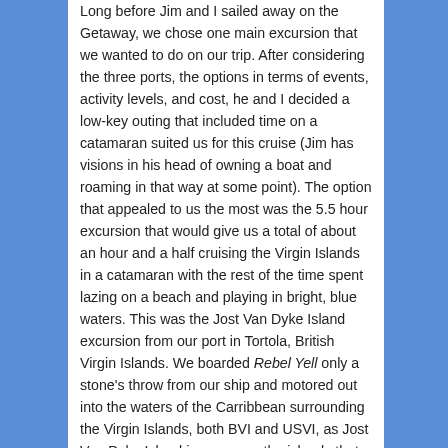Long before Jim and I sailed away on the Getaway, we chose one main excursion that we wanted to do on our trip. After considering the three ports, the options in terms of events, activity levels, and cost, he and I decided a low-key outing that included time on a catamaran suited us for this cruise (Jim has visions in his head of owning a boat and roaming in that way at some point). The option that appealed to us the most was the 5.5 hour excursion that would give us a total of about an hour and a half cruising the Virgin Islands in a catamaran with the rest of the time spent lazing on a beach and playing in bright, blue waters. This was the Jost Van Dyke Island excursion from our port in Tortola, British Virgin Islands. We boarded Rebel Yell only a stone's throw from our ship and motored out into the waters of the Carribbean surrounding the Virgin Islands, both BVI and USVI, as Jost Van Dyke Island is very near the islands that make up the USVI. Luckily, on Wednesday Jim was feeling better, and I was still feeling pretty well as I was just beginning to take the cold my dear husband so loving shared with me (I did not have it as badly as he did though).